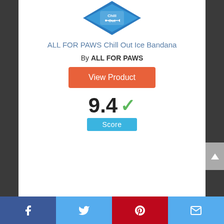[Figure (photo): Product image of ALL FOR PAWS Chill Out Ice Bandana — a blue diamond-shaped bandana with 'Chill Out' text and dog icon]
ALL FOR PAWS Chill Out Ice Bandana
By ALL FOR PAWS
View Product
9.4 ✓
Score
2
Facebook  Twitter  Pinterest  Email